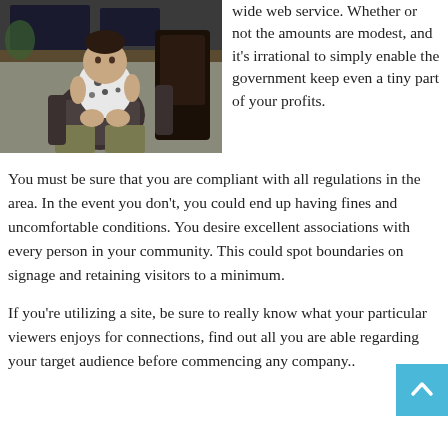[Figure (photo): A baby/toddler sitting on an adult's lap at a desk with computer monitors in the background. The adult is holding a dark chair. The baby is wearing a patterned onesie.]
wide web service. Whether or not the amounts are modest, and it's irrational to simply enable the government keep even a tiny part of your profits.
You must be sure that you are compliant with all regulations in the area. In the event you don't, you could end up having fines and uncomfortable conditions. You desire excellent associations with every person in your community. This could spot boundaries on signage and retaining visitors to a minimum.
If you're utilizing a site, be sure to really know what your particular viewers enjoys for connections, find out all you are able regarding your target audience before commencing any company..